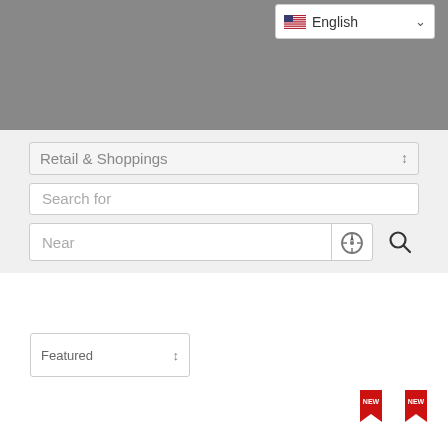[Figure (screenshot): Gray banner area at top of page representing an image placeholder]
[Figure (screenshot): Language selector dropdown showing US flag and 'English' with dropdown chevron]
[Figure (screenshot): Search interface with 'Retail & Shoppings' category dropdown, 'Search for' text input, 'Near' location input with compass icon, and search magnifier button]
[Figure (screenshot): Featured sort dropdown selector]
[Figure (screenshot): Two red 'NEW' banner badge icons]